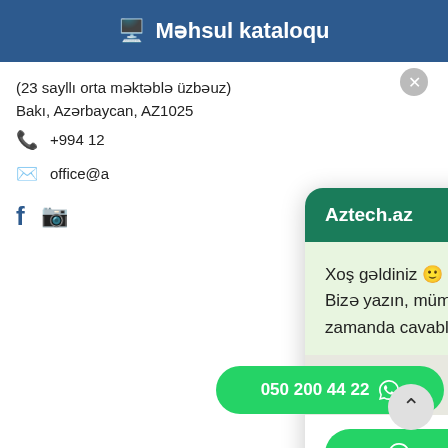Məhsul kataloqu
(23 sayllı orta məktəblə üzbəuz)
Bakı, Azərbaycan, AZ1025
+994 12
office@a
[Figure (screenshot): WhatsApp chat widget popup with header 'Aztech.az', greeting message 'Xoş gəldiniz 🙂 Bizə yazın, mümkün olan ən qısa zamanda cavablandıraq.' and a green 'Whatsapp ilə yaz' button and note '🟢 biz burdaylq, siz yazın']
© Copyright 2018
Created by SiteMaster.az
050 200 44 22